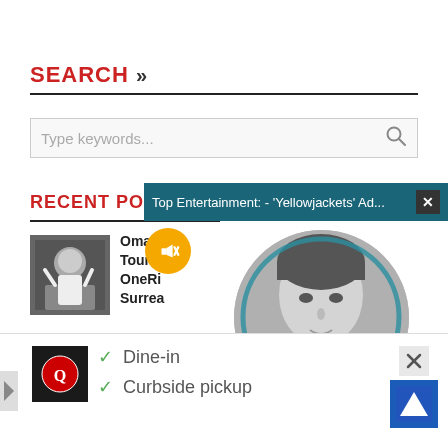SEARCH »
[Figure (screenshot): Search input box with placeholder text 'Type keywords...' and a search magnifying glass icon on the right]
RECENT POSTS
[Figure (screenshot): Overlay ad banner: 'Top Entertainment: - Yellowjackets' Ad...' with close X button in dark teal bar. Below it is a beige panel showing a circular portrait photo of a young man in grayscale with a teal ring overlay, and a yellow mute button.]
Omaha Tour w OneRi Surrea
Posted O
[Figure (screenshot): Bottom ad overlay showing logo, checkmarks for 'Dine-in' and 'Curbside pickup', X button, and navigation arrow icon]